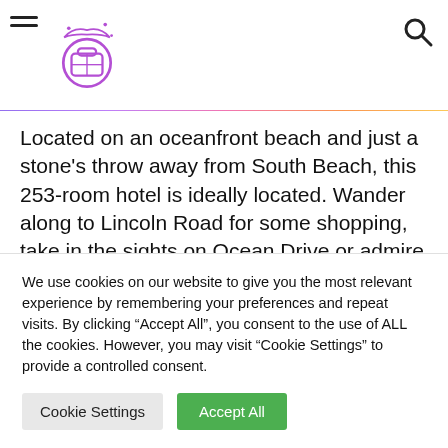[Travel website header with hamburger menu, logo, and search icon]
Located on an oceanfront beach and just a stone's throw away from South Beach, this 253-room hotel is ideally located. Wander along to Lincoln Road for some shopping, take in the sights on Ocean Drive or admire the architecture in the Art Deco District. The Collins Avenue hotel has all the bits and pieces you'd
We use cookies on our website to give you the most relevant experience by remembering your preferences and repeat visits. By clicking “Accept All”, you consent to the use of ALL the cookies. However, you may visit “Cookie Settings” to provide a controlled consent.